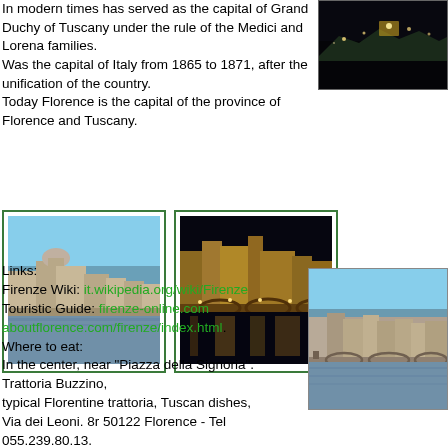In modern times has served as the capital of Grand Duchy of Tuscany under the rule of the Medici and Lorena families.
Was the capital of Italy from 1865 to 1871, after the unification of the country.
Today Florence is the capital of the province of Florence and Tuscany.
[Figure (photo): Night aerial view of Florence city]
[Figure (photo): Daytime view of Florence river and buildings]
[Figure (photo): Night view of Florence with illuminated bridge and river reflections]
Links:
Firenze Wiki: it.wikipedia.org/wiki/Firenze
Touristic Guide: firenze-online.com aboutflorence.com/firenze/index.html.
Where to eat:
In the center, near "Piazza della Signoria".
Trattoria Buzzino,
typical Florentine trattoria, Tuscan dishes,
Via dei Leoni. 8r 50122 Florence - Tel 055.239.80.13.
Good food, reasonable prices, tested.
[Figure (photo): Daytime wide view of Florence river and bridge]